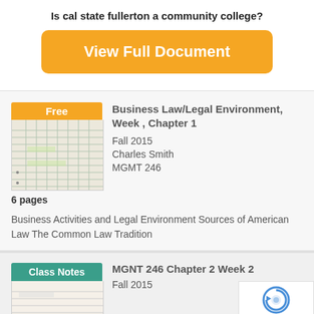Is cal state fullerton a community college?
View Full Document
[Figure (screenshot): Thumbnail of notebook page with 'Free' badge]
6 pages
Business Law/Legal Environment, Week , Chapter 1
Fall 2015
Charles Smith
MGMT 246
Business Activities and Legal Environment Sources of American Law The Common Law Tradition
[Figure (screenshot): Thumbnail of notebook page with 'Class Notes' badge]
MGNT 246 Chapter 2 Week 2
Fall 2015